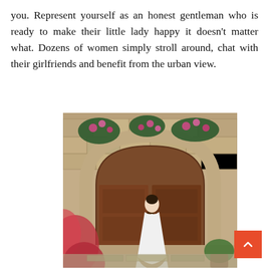you. Represent yourself as an honest gentleman who is ready to make their little lady happy it doesn’t matter what. Dozens of women simply stroll around, chat with their girlfriends and benefit from the urban view.
[Figure (photo): A bride in a white wedding gown standing in front of a large wooden arched door set in a stone wall, with pink flowers and greenery above the arch and red flowers in the foreground.]